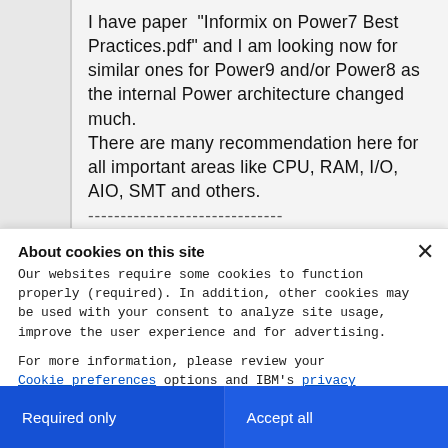I have paper "Informix on Power7 Best Practices.pdf" and I am looking now for similar ones for Power9 and/or Power8 as the internal Power architecture changed much.
There are many recommendation here for all important areas like CPU, RAM, I/O, AIO, SMT and others.
------------------------------
About cookies on this site
Our websites require some cookies to function properly (required). In addition, other cookies may be used with your consent to analyze site usage, improve the user experience and for advertising.

For more information, please review your Cookie preferences options and IBM's privacy statement.
Required only
Accept all